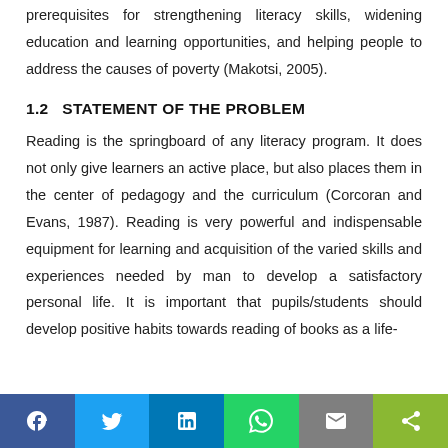prerequisites for strengthening literacy skills, widening education and learning opportunities, and helping people to address the causes of poverty (Makotsi, 2005).
1.2   STATEMENT OF THE PROBLEM
Reading is the springboard of any literacy program. It does not only give learners an active place, but also places them in the center of pedagogy and the curriculum (Corcoran and Evans, 1987). Reading is very powerful and indispensable equipment for learning and acquisition of the varied skills and experiences needed by man to develop a satisfactory personal life. It is important that pupils/students should develop positive habits towards reading of books as a life-
[Figure (infographic): Social sharing bar with buttons: Facebook (blue), Twitter (blue), LinkedIn (blue), WhatsApp (green), Email (grey), Share (green-yellow)]